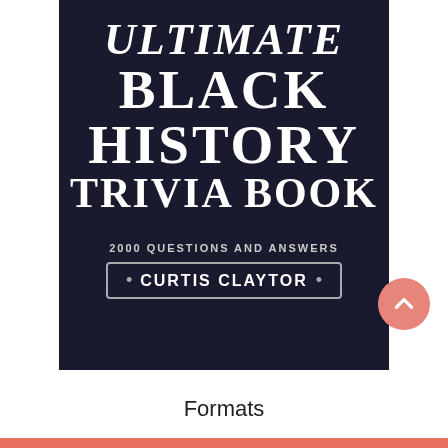[Figure (photo): Book cover of 'Ultimate Black History Trivia Book' by Curtis Claytor. Dark navy/black background with large bold white serif text. Subtitle reads '2000 Questions and Answers'. Author name in a bordered badge at the bottom.]
Formats